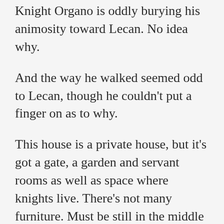Knight Organo is oddly burying his animosity toward Lecan. No idea why.
And the way he walked seemed odd to Lecan, though he couldn't put a finger on as to why.
This house is a private house, but it's got a gate, a garden and servant rooms as well as space where knights live. There's not many furniture. Must be still in the middle of furnishing.
"Gaskoel-sama. I have brought adventurer Lecan with me."
"Ah, good work. You may enter."